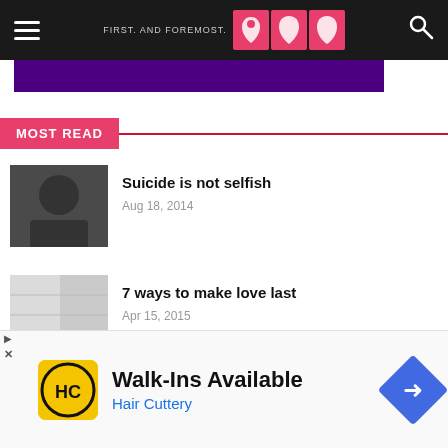FIRST. AND FOREMOST. [logo with three women silhouettes]
[Figure (other): Purple banner advertisement strip]
MOST READ
Suicide is not selfish — Aug 18, 2014
7 ways to make love last — Apr 15, 2015
[Figure (other): Advertisement: Walk-Ins Available — Hair Cuttery with HC logo and navigation arrow icon]